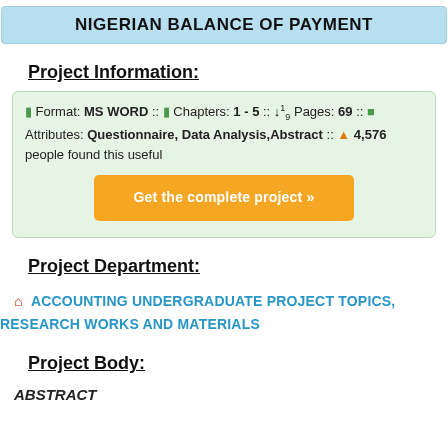NIGERIAN BALANCE OF PAYMENT
Project Information:
Format: MS WORD :: Chapters: 1 - 5 :: Pages: 69 :: Attributes: Questionnaire, Data Analysis,Abstract :: 4,576 people found this useful
Get the complete project »
Project Department:
ACCOUNTING UNDERGRADUATE PROJECT TOPICS, RESEARCH WORKS AND MATERIALS
Project Body:
ABSTRACT